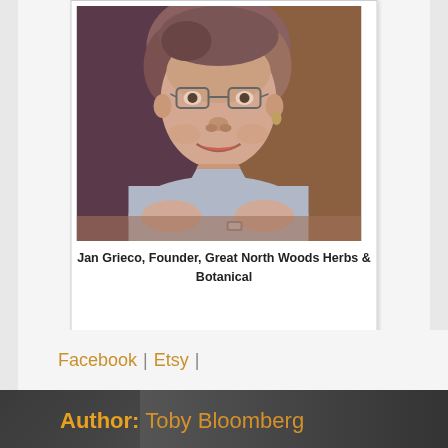[Figure (photo): Portrait photo of an elderly woman with glasses and short hair, wearing a light blue t-shirt, smiling at the camera. Displayed in a polaroid-style frame.]
Jan Grieco, Founder, Great North Woods Herbs & Botanical
Facebook | Etsy |
Author: Toby Bloomberg